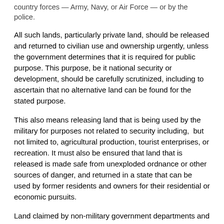country forces — Army, Navy, or Air Force — or by the police.
All such lands, particularly private land, should be released and returned to civilian use and ownership urgently, unless the government determines that it is required for public purpose. This purpose, be it national security or development, should be carefully scrutinized, including to ascertain that no alternative land can be found for the stated purpose.
This also means releasing land that is being used by the military for purposes not related to security including,  but not limited to, agricultural production, tourist enterprises, or recreation. It must also be ensured that land that is released is made safe from unexploded ordnance or other sources of danger, and returned in a state that can be used by former residents and owners for their residential or economic pursuits.
Land claimed by non-military government departments and authorities, which were formerly owned and occupied by persons now in displacement, should be returned.
Where government departments or authorities have formalized their claim to land belonging to displaced persons, these cases need to be reviewed in consultation with district-level authorities in a transparent manner, and where possible, the land must be restored to the rightful owner.
Land Acquired for Public Purpose